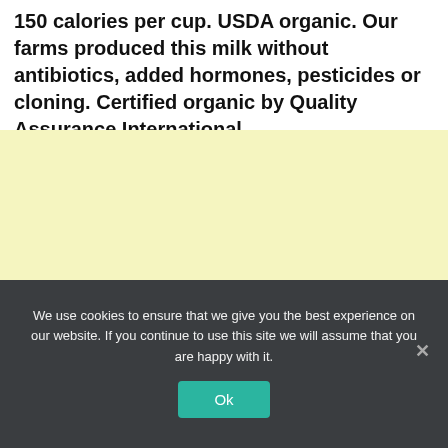150 calories per cup. USDA organic. Our farms produced this milk without antibiotics, added hormones, pesticides or cloning. Certified organic by Quality Assurance International.
[Figure (other): Light yellow rectangular advertisement or content block]
We use cookies to ensure that we give you the best experience on our website. If you continue to use this site we will assume that you are happy with it.